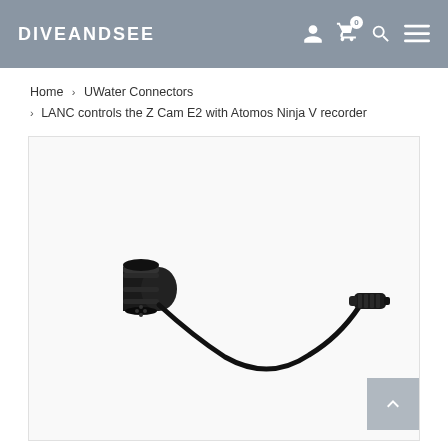DIVEANDSEE
Home > UWater Connectors > LANC controls the Z Cam E2 with Atomos Ninja V recorder
[Figure (photo): A short black cable connector with two ends: a multi-pin cylindrical connector on the left and a smaller connector on the right, connected by a curved black cable, shown on a white background.]